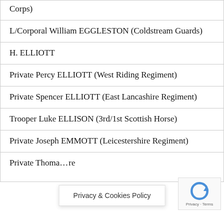| Corps) |
| L/Corporal William EGGLESTON (Coldstream Guards) |
| H. ELLIOTT |
| Private Percy ELLIOTT (West Riding Regiment) |
| Private Spencer ELLIOTT (East Lancashire Regiment) |
| Trooper Luke ELLISON (3rd/1st Scottish Horse) |
| Private Joseph EMMOTT (Leicestershire Regiment) |
| Private Thoma…re |